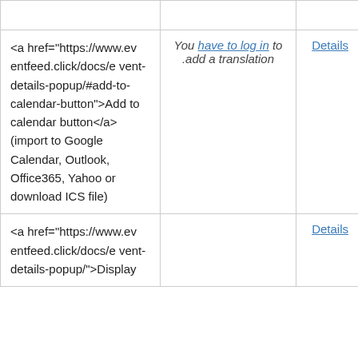|  |  |  |
| <a href="https://www.eventfeed.click/docs/event-details-popup/#add-to-calendar-button">Add to calendar button</a> (import to Google Calendar, Outlook, Office365, Yahoo or download ICS file) | You have to log in to add a translation | Details |
| <a href="https://www.eventfeed.click/docs/event-details-popup/">Display |  | Details |